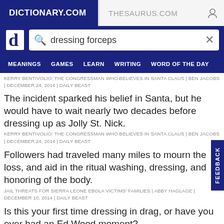DICTIONARY.COM | THESAURUS.COM
[Figure (screenshot): Dictionary.com search bar with query 'dressing forceps']
KERRY BENTIVOLIO: THE CONGRESSMAN WHO BELIEVES IN SANTA CLAUS | BEN JACOBS | DECEMBER 24, 2014 | DAILY BEAST
The incident sparked his belief in Santa, but he would have to wait nearly two decades before dressing up as Jolly St. Nick.
KERRY BENTIVOLIO: THE CONGRESSMAN WHO BELIEVES IN SANTA CLAUS | BEN JACOBS | DECEMBER 24, 2014 | DAILY BEAST
Followers had traveled many miles to mourn the loss, and aid in the ritual washing, dressing, and honoring of the body.
JAIL THREATS FOR SIERRA LEONE EBOLA VICTIMS' FAMILIES | ABBY HAGLAGE | DECEMBER 10, 2014 | DAILY BEAST
Is this your first time dressing in drag, or have you ever had an Ed Wood moment?
MICHAEL C. HALL ON GOING DRAG FOR 'HEDWIG AND THE ANGRY INCH'